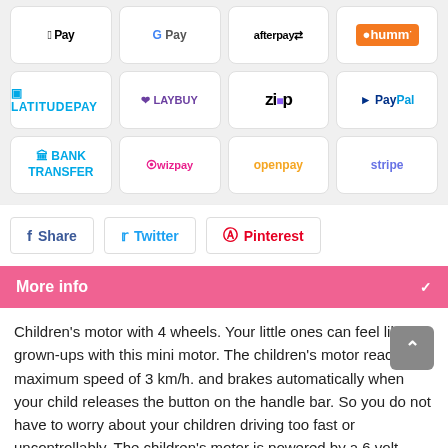[Figure (other): Payment method logos grid: Apple Pay, Google Pay, afterpay, humm, LatitudePay, Laybuy, Zip, PayPal, Bank Transfer, Wizpay, openpay, stripe]
Share
Twitter
Pinterest
More info
Children's motor with 4 wheels. Your little ones can feel like the grown-ups with this mini motor. The children's motor reaches a maximum speed of 3 km/h. and brakes automatically when your child releases the button on the handle bar. So you do not have to worry about your children driving too fast or uncontrollably. The children's motor is powered by a 6 volt battery and has an operating time of